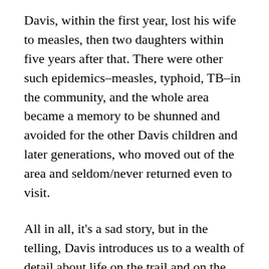Davis, within the first year, lost his wife to measles, then two daughters within five years after that. There were other such epidemics–measles, typhoid, TB–in the community, and the whole area became a memory to be shunned and avoided for the other Davis children and later generations, who moved out of the area and seldom/never returned even to visit.
All in all, it's a sad story, but in the telling, Davis introduces us to a wealth of detail about life on the trail and on the frontier. He also clears up a number of confusions about the genesis of the Applegate trail, it's relationship to other emigrant roads coming out of Nevada to CA and to OR, and treats us to a western history bonanza of great proportions.
A buddy and I plan to retrace the Applegate Trail from Winnemucca to the Willamette River valley